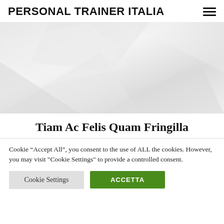PERSONAL TRAINER ITALIA
[Figure (photo): Light grey abstract fabric or paper texture image used as hero/banner image]
Tiam Ac Felis Quam Fringilla
Cookie “Accept All”, you consent to the use of ALL the cookies. However, you may visit "Cookie Settings" to provide a controlled consent.